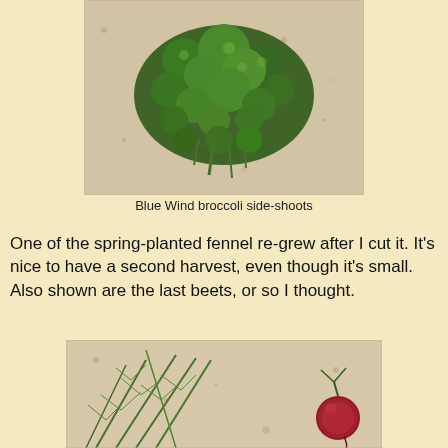[Figure (photo): Photo of Blue Wind broccoli side-shoots piled on a granite countertop]
Blue Wind broccoli side-shoots
One of the spring-planted fennel re-grew after I cut it. It's nice to have a second harvest, even though it's small. Also shown are the last beets, or so I thought.
[Figure (photo): Photo of fennel fronds and a small red beet on a granite countertop]